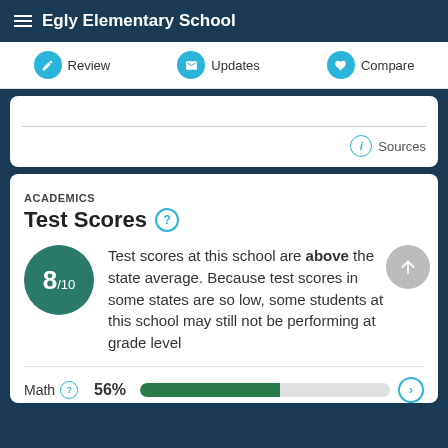Egly Elementary School
Review   Updates   Compare
Sources
ACADEMICS
Test Scores
Test scores at this school are above the state average. Because test scores in some states are so low, some students at this school may still not be performing at grade level
Math  56%